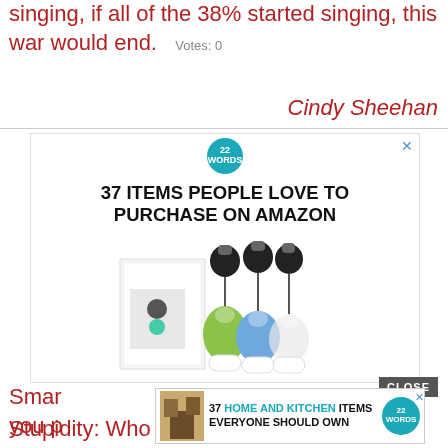singing, if all of the 38% started singing, this war would end.   Votes: 0
Cindy Sheehan
[Figure (screenshot): Advertisement banner: 22 Words logo and '37 ITEMS PEOPLE LOVE TO PURCHASE ON AMAZON' with product image of retractable badge reels with silicone travel bottles]
Smart [text obscured by ad] ied you p[text obscured] er of Stupidity: Who said I was preaching? Who said anything about the truth?  Votes: 0